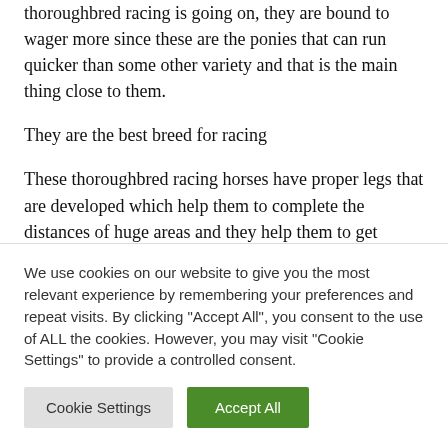thoroughbred racing is going on, they are bound to wager more since these are the ponies that can run quicker than some other variety and that is the main thing close to them.
They are the best breed for racing
These thoroughbred racing horses have proper legs that are developed which help them to complete the distances of huge areas and they help them to get
We use cookies on our website to give you the most relevant experience by remembering your preferences and repeat visits. By clicking "Accept All", you consent to the use of ALL the cookies. However, you may visit "Cookie Settings" to provide a controlled consent.
Cookie Settings | Accept All